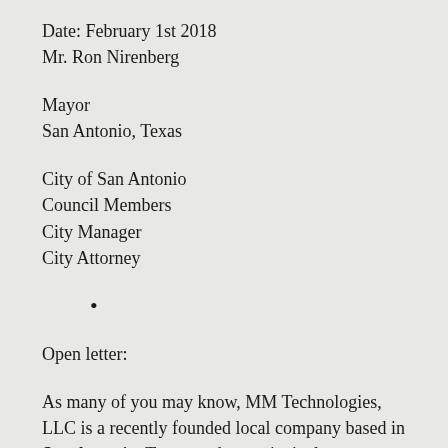Date: February 1st 2018
Mr. Ron Nirenberg
Mayor
San Antonio, Texas
City of San Antonio
Council Members
City Manager
City Attorney
•
Open letter:
As many of you may know, MM Technologies, LLC is a recently founded local company based in San Antonio, Texas, and our principal